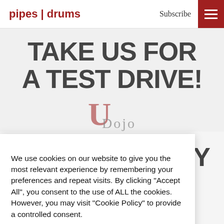pipes | drums  Subscribe
[Figure (screenshot): Promotional area with bold text 'TAKE US FOR A TEST DRIVE!' and a Dojo U logo watermark in dark red, with partial text 'TY' visible at right]
We use cookies on our website to give you the most relevant experience by remembering your preferences and repeat visits. By clicking “Accept All”, you consent to the use of ALL the cookies. However, you may visit "Cookie Policy" to provide a controlled consent.
Cookie Policy  Reject All  Accept All